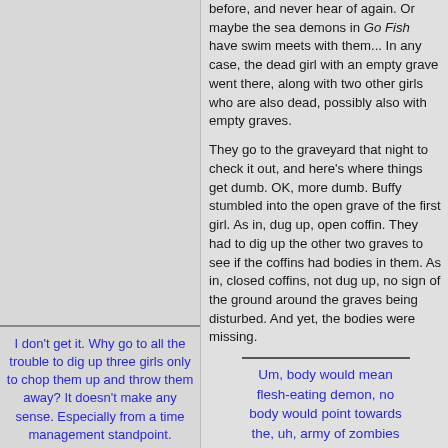before, and never hear of again. Or maybe the sea demons in Go Fish have swim meets with them... In any case, the dead girl with an empty grave went there, along with two other girls who are also dead, possibly also with empty graves.
They go to the graveyard that night to check it out, and here's where things get dumb. OK, more dumb. Buffy stumbled into the open grave of the first girl. As in, dug up, open coffin. They had to dig up the other two graves to see if the coffins had bodies in them. As in, closed coffins, not dug up, no sign of the ground around the graves being disturbed. And yet, the bodies were missing.
Um, body would mean flesh-eating demon, no body would point towards the, uh, army of zombies thing. Take your pick, really.
Maybe Chris and Eric, in addition to chopping up girls' bodies and sewing them all together to make a dream girl, also have mastered transporter technology. These are
I don't get it. Why go to all the trouble to dig up three girls only to chop them up and throw them away? It doesn't make any sense. Especially from a time management standpoint.